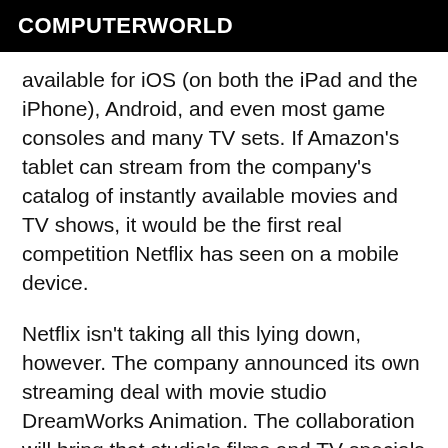COMPUTERWORLD
available for iOS (on both the iPad and the iPhone), Android, and even most game consoles and many TV sets. If Amazon's tablet can stream from the company's catalog of instantly available movies and TV shows, it would be the first real competition Netflix has seen on a mobile device.
Netflix isn't taking all this lying down, however. The company announced its own streaming deal with movie studio DreamWorks Animation. The collaboration will bring that studio's films and TV specials to Netflix beginning in 2013. The DreamWorks deal probably won't add 2,000 titles to Netflix's listings, but Netflix already has a significant lead in numbers